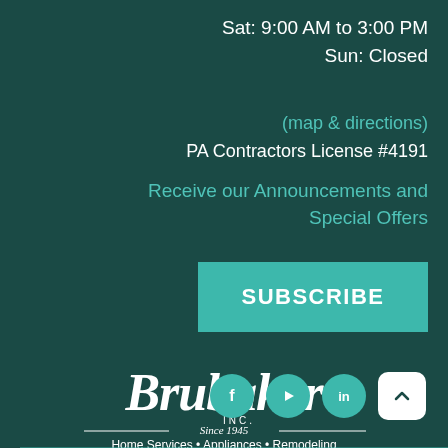Sat: 9:00 AM to 3:00 PM
Sun: Closed
(map & directions)
PA Contractors License #4191
Receive our Announcements and Special Offers
SUBSCRIBE
[Figure (logo): Brubaker INC. Since 1945 — Home Services • Appliances • Remodeling logo in white script on dark teal background]
[Figure (infographic): Social media icons: Facebook, YouTube, LinkedIn circles in teal, and a white scroll-up button]